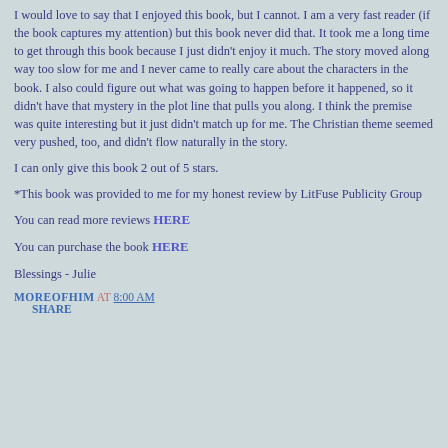I would love to say that I enjoyed this book, but I cannot. I am a very fast reader (if the book captures my attention) but this book never did that. It took me a long time to get through this book because I just didn't enjoy it much. The story moved along way too slow for me and I never came to really care about the characters in the book. I also could figure out what was going to happen before it happened, so it didn't have that mystery in the plot line that pulls you along. I think the premise was quite interesting but it just didn't match up for me. The Christian theme seemed very pushed, too, and didn't flow naturally in the story.
I can only give this book 2 out of 5 stars.
*This book was provided to me for my honest review by LitFuse Publicity Group
You can read more reviews HERE
You can purchase the book HERE
Blessings - Julie
MOREOFHIM AT 8:00 AM
SHARE